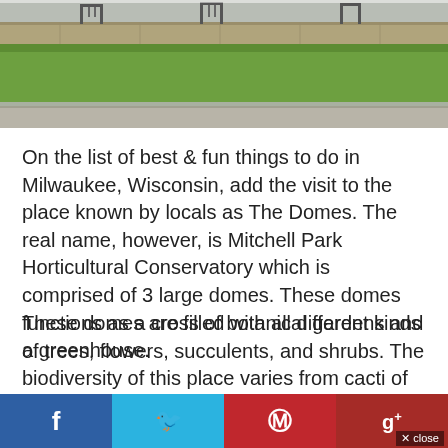[Figure (photo): Outdoor photo showing a grassy area with a stone retaining wall, playground equipment silhouettes in the background against a grey sky, and a concrete sidewalk in the foreground.]
On the list of best & fun things to do in Milwaukee, Wisconsin, add the visit to the place known by locals as The Domes. The real name, however, is Mitchell Park Horticultural Conservatory which is comprised of 3 large domes. These domes functions as a cross of botanical gardens and a greenhouse.
These domes are filled with all different kinds of trees, flowers, succulents, and shrubs. The biodiversity of this place varies from cacti of dry deserts to thick vines of jungles.